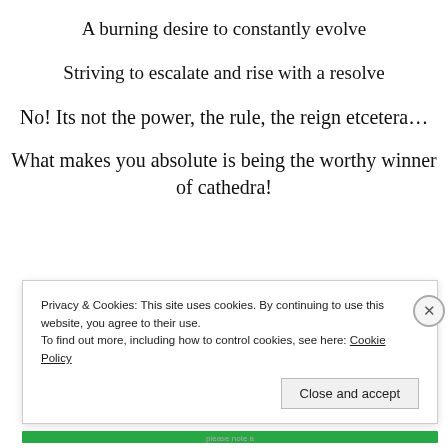A burning desire to constantly evolve
Striving to escalate and rise with a resolve
No! Its not the power, the rule, the reign etcetera…
What makes you absolute is being the worthy winner of cathedra!
Privacy & Cookies: This site uses cookies. By continuing to use this website, you agree to their use. To find out more, including how to control cookies, see here: Cookie Policy Close and accept